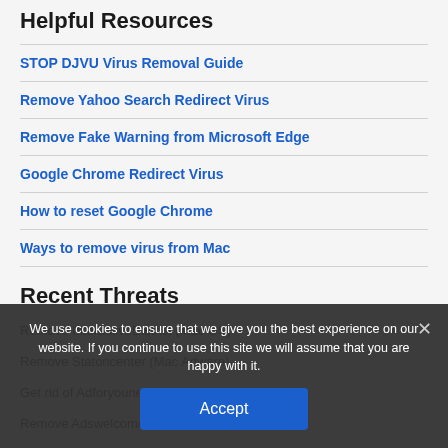Helpful Resources
STOP DJVU Virus Removal Guide
Remove Yahoo Search Redirect Virus
Remove Fake Warning from Microsoft Edge
Google Chrome Redirect Virus
How to reset Google Chrome
Ways to remove virus from Mac
Recent Threats
Remove InteractiveDistrict (Mac OS)
Remove Statoncenter (Mac Adware)
Get rid of Adforyounews.com Pop-up
Remove Adswelcome x...
Remove Search-checker.com
We use cookies to ensure that we give you the best experience on our website. If you continue to use this site we will assume that you are happy with it.